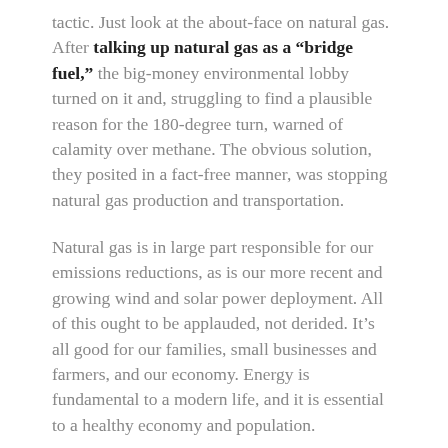tactic. Just look at the about-face on natural gas. After talking up natural gas as a “bridge fuel,” the big-money environmental lobby turned on it and, struggling to find a plausible reason for the 180-degree turn, warned of calamity over methane. The obvious solution, they posited in a fact-free manner, was stopping natural gas production and transportation.
Natural gas is in large part responsible for our emissions reductions, as is our more recent and growing wind and solar power deployment. All of this ought to be applauded, not derided. It’s all good for our families, small businesses and farmers, and our economy. Energy is fundamental to a modern life, and it is essential to a healthy economy and population.
Yet the “we must do more” gang is silent on China’s rapidly increasing emissions. This comes while the